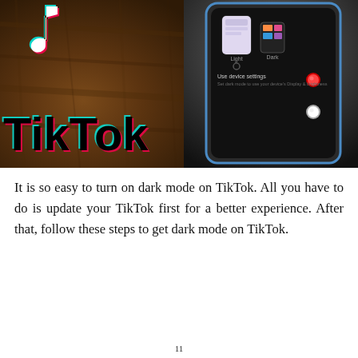[Figure (photo): Photo showing a TikTok logo on a wooden surface on the left, and a smartphone displaying TikTok dark mode settings screen on the right]
It is so easy to turn on dark mode on TikTok. All you have to do is update your TikTok first for a better experience. After that, follow these steps to get dark mode on TikTok.
11